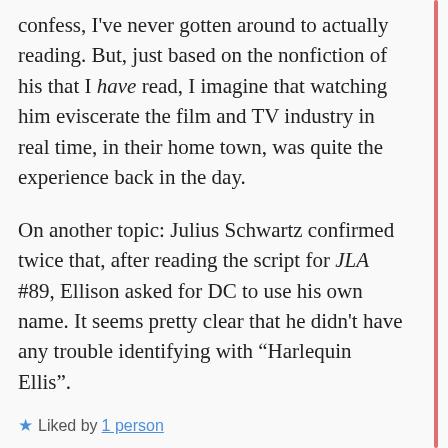confess, I've never gotten around to actually reading. But, just based on the nonfiction of his that I have read, I imagine that watching him eviscerate the film and TV industry in real time, in their home town, was quite the experience back in the day.
On another topic: Julius Schwartz confirmed twice that, after reading the script for JLA #89, Ellison asked for DC to use his own name. It seems pretty clear that he didn't have any trouble identifying with "Harlequin Ellis".
★ Liked by 1 person